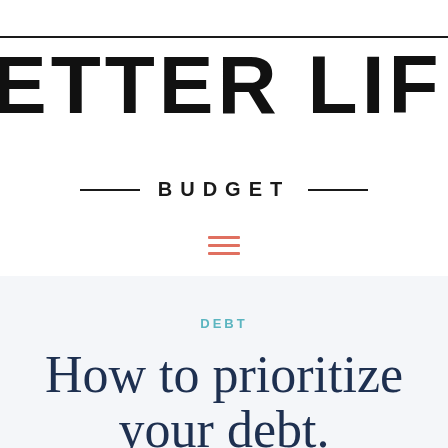ETTER LIFE BUDGET
DEBT
How to prioritize your debt.